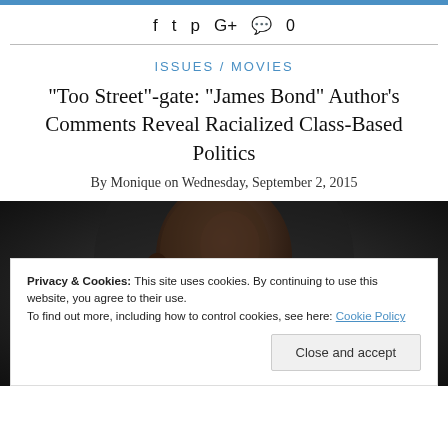f t p G+ 💬 0
ISSUES / MOVIES
"Too Street"-gate: "James Bond" Author's Comments Reveal Racialized Class-Based Politics
By Monique on Wednesday, September 2, 2015
[Figure (photo): Dark portrait photo of a person, partially visible, shown from shoulders up against a dark background]
Privacy & Cookies: This site uses cookies. By continuing to use this website, you agree to their use.
To find out more, including how to control cookies, see here: Cookie Policy
Close and accept